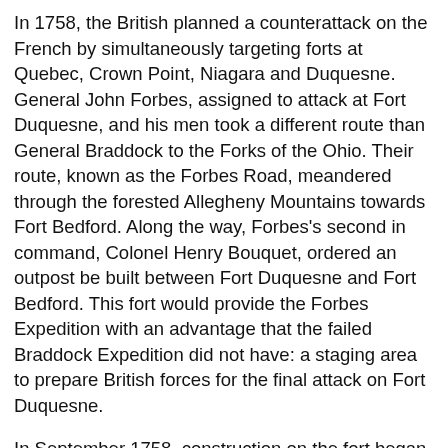In 1758, the British planned a counterattack on the French by simultaneously targeting forts at Quebec, Crown Point, Niagara and Duquesne. General John Forbes, assigned to attack at Fort Duquesne, and his men took a different route than General Braddock to the Forks of the Ohio. Their route, known as the Forbes Road, meandered through the forested Allegheny Mountains towards Fort Bedford. Along the way, Forbes's second in command, Colonel Henry Bouquet, ordered an outpost be built between Fort Duquesne and Fort Bedford. This fort would provide the Forbes Expedition with an advantage that the failed Braddock Expedition did not have: a staging area to prepare British forces for the final attack on Fort Duquesne.
In September 1758, construction on the fort began. Known as the "Post at Loyalhanna," the fort was later named Fort Ligonier in honor of Sir John Ligonier, a French-born nobleman and Field Marshall of the British Army. In mid-September, British forces under Major James Grant left Fort Ligonier to capture Fort Duquesne, but were quickly defeated by the stronger French forces. In response, the French forces planned an attack on Fort Ligonier to seize their supplies and weaken British presence in the Ohio Valley.
On October 12, French and Indian forces attacked Fort Ligonier. At